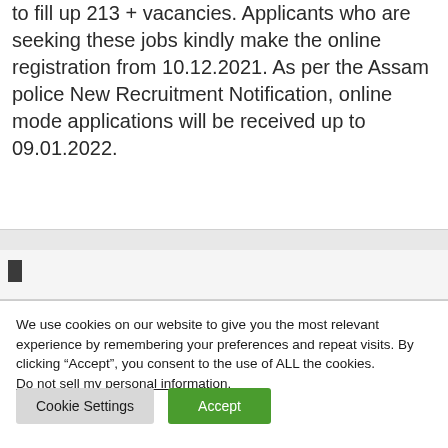to fill up 213 + vacancies. Applicants who are seeking these jobs kindly make the online registration from 10.12.2021. As per the Assam police New Recruitment Notification, online mode applications will be received up to 09.01.2022.
We use cookies on our website to give you the most relevant experience by remembering your preferences and repeat visits. By clicking “Accept”, you consent to the use of ALL the cookies. Do not sell my personal information.